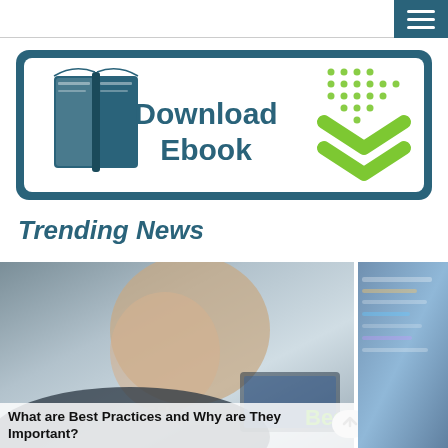Navigation menu button (hamburger icon)
[Figure (illustration): Download Ebook banner with book icon on the left, bold text 'Download Ebook' in the center, and green chevron/arrow icons on the right, all inside a teal rounded-rectangle border.]
Trending News
[Figure (photo): Close-up profile photo of a man's face looking at a screen, with a 'TH@T!' watermark overlay and a 'Best' text label in green at the bottom right.]
What are Best Practices and Why are They Important?